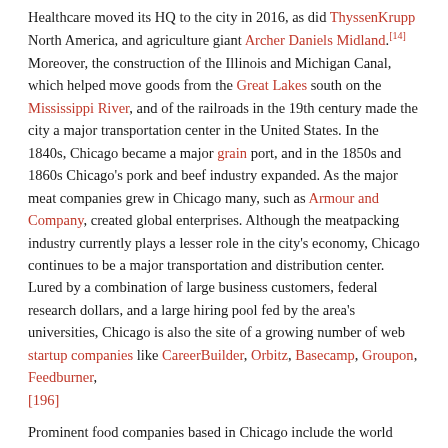Healthcare moved its HQ to the city in 2016, as did ThyssenKrupp North America, and agriculture giant Archer Daniels Midland.[14] Moreover, the construction of the Illinois and Michigan Canal, which helped move goods from the Great Lakes south on the Mississippi River, and of the railroads in the 19th century made the city a major transportation center in the United States. In the 1840s, Chicago became a major grain port, and in the 1850s and 1860s Chicago's pork and beef industry expanded. As the major meat companies grew in Chicago many, such as Armour and Company, created global enterprises. Although the meatpacking industry currently plays a lesser role in the city's economy, Chicago continues to be a major transportation and distribution center. Lured by a combination of large business customers, federal research dollars, and a large hiring pool fed by the area's universities, Chicago is also the site of a growing number of web startup companies like CareerBuilder, Orbitz, Basecamp, Groupon, Feedburner, [196]
Prominent food companies based in Chicago include the world headquarters of Conagra, Ferrara Candy Company, Kraft Heinz, McDonald's, Mondelez International, Quaker Oats, and US Foods.
Chicago has been a hub of the Retail sector since its early...